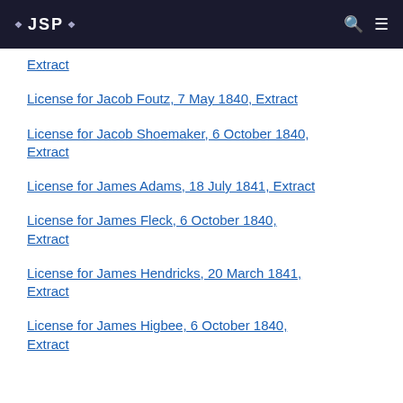JSP
Extract
License for Jacob Foutz, 7 May 1840, Extract
License for Jacob Shoemaker, 6 October 1840, Extract
License for James Adams, 18 July 1841, Extract
License for James Fleck, 6 October 1840, Extract
License for James Hendricks, 20 March 1841, Extract
License for James Higbee, 6 October 1840, Extract